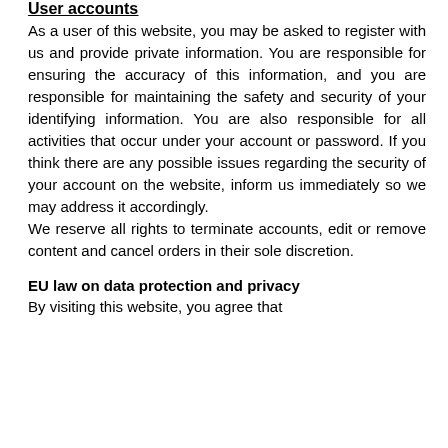User accounts
As a user of this website, you may be asked to register with us and provide private information. You are responsible for ensuring the accuracy of this information, and you are responsible for maintaining the safety and security of your identifying information. You are also responsible for all activities that occur under your account or password. If you think there are any possible issues regarding the security of your account on the website, inform us immediately so we may address it accordingly. We reserve all rights to terminate accounts, edit or remove content and cancel orders in their sole discretion.
EU law on data protection and privacy
By visiting this website, you agree that